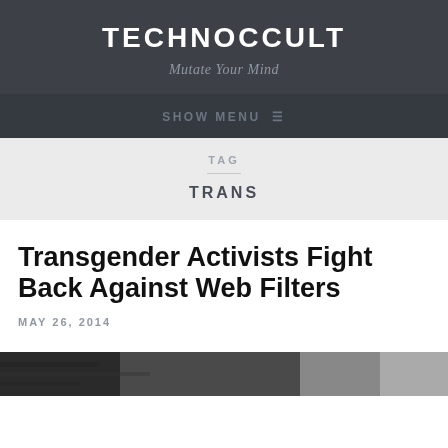TECHNOCCULT
Mutate Your Mind
SHOW MENU ≡
TAG
TRANS
Transgender Activists Fight Back Against Web Filters
MAY 26, 2014
[Figure (photo): Partial bottom image, dark tones, appears to be a photograph cut off at the bottom of the page]